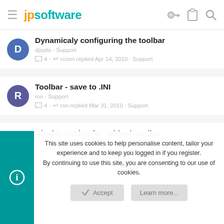jpsoftware
Dynamicaly configuring the toolbar
djspits · Support
4 · rconn replied Apr 14, 2010 · Support
Toolbar - save to .INI
ron · Support
4 · ron replied Mar 31, 2010 · Support
Display setting for Tabbed Toolbar
gwmacdonald · Support
1 · rconn replied Dec 31, 2009 · Support
This site uses cookies to help personalise content, tailor your experience and to keep you logged in if you register.
By continuing to use this site, you are consenting to our use of cookies.